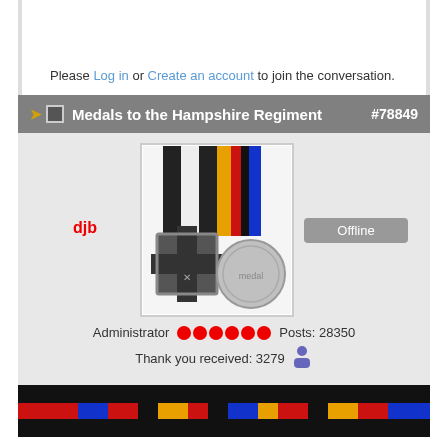Please Log in or Create an account to join the conversation.
Medals to the Hampshire Regiment #78849
[Figure (photo): Photo of two medals on ribbons: an Iron Cross on black-and-white ribbon and a circular medal on orange-red-black-blue striped ribbon, displayed on a white background.]
djb  Offline  Administrator  Posts: 28350  Thank you received: 3279
[Figure (photo): Bottom preview strip showing colorful horizontal ribbon bars (red, blue, yellow, black) on a dark background.]